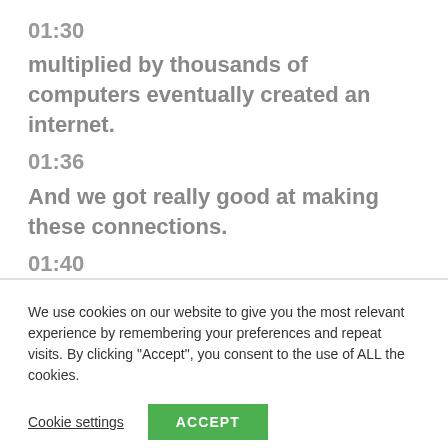01:30
multiplied by thousands of computers eventually created an internet.
01:36
And we got really good at making these connections.
01:40
We use cookies on our website to give you the most relevant experience by remembering your preferences and repeat visits. By clicking “Accept”, you consent to the use of ALL the cookies.
Cookie settings
ACCEPT